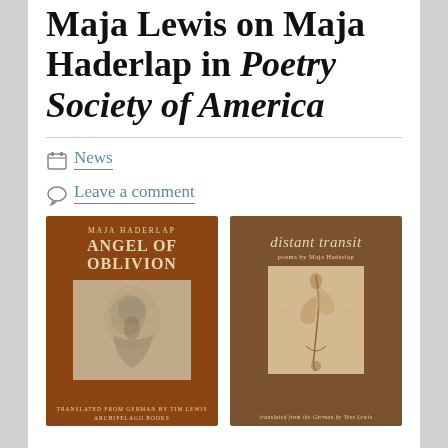Maja Haderlap in Poetry Society of America
News
Leave a comment
[Figure (photo): Book cover of 'Angel of Oblivion' by Maja Haderlap, brown/rust colored cover with title in large uppercase serif letters and a faded artistic image in the center]
[Figure (photo): Book cover of 'distant transit' poems by Maja Haderlap, brown cover with italic title and a figure illustration in the center]